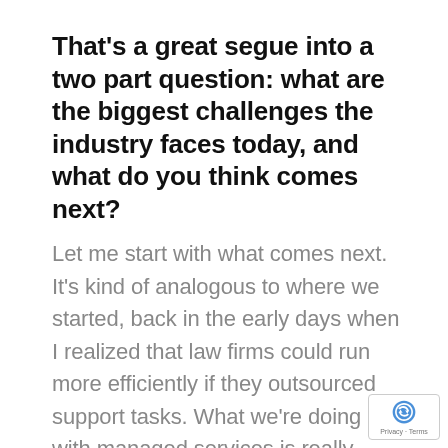That's a great segue into a two part question: what are the biggest challenges the industry faces today, and what do you think comes next?
Let me start with what comes next. It's kind of analogous to where we started, back in the early days when I realized that law firms could run more efficiently if they outsourced support tasks. What we're doing with managed services is really similar. We're handling everything that's not the actual practice of law: